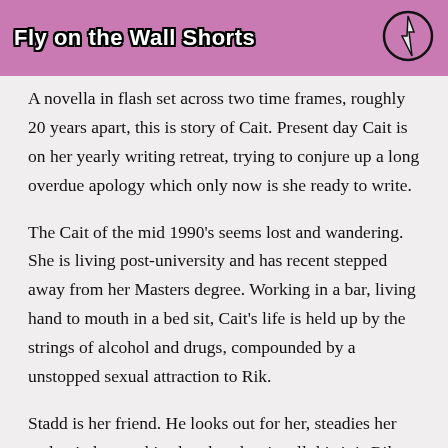[Figure (other): Pink banner header reading 'Fly on the Wall Shorts' in bold white outlined text, with a circular logo icon on the right showing a stylized figure/lightning bolt.]
A novella in flash set across two time frames, roughly 20 years apart, this is story of Cait. Present day Cait is on her yearly writing retreat, trying to conjure up a long overdue apology which only now is she ready to write.
The Cait of the mid 1990's seems lost and wandering. She is living post-university and has recent stepped away from her Masters degree. Working in a bar, living hand to mouth in a bed sit, Cait's life is held up by the strings of alcohol and drugs, compounded by a unstopped sexual attraction to Rik.
Stadd is her friend. He looks out for her, steadies her and quietly worships her, but despite all this it is Rik...